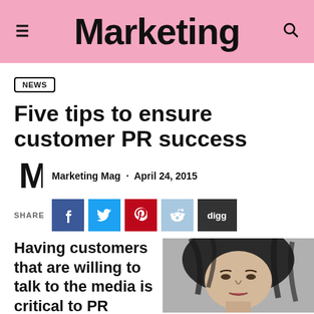Marketing
NEWS
Five tips to ensure customer PR success
Marketing Mag · April 24, 2015
SHARE
[Figure (illustration): Social share buttons: Facebook, Twitter, Pinterest, Reddit, Digg]
Having customers that are willing to talk to the media is critical to PR
[Figure (photo): Black and white portrait photo of a woman with dark hair]